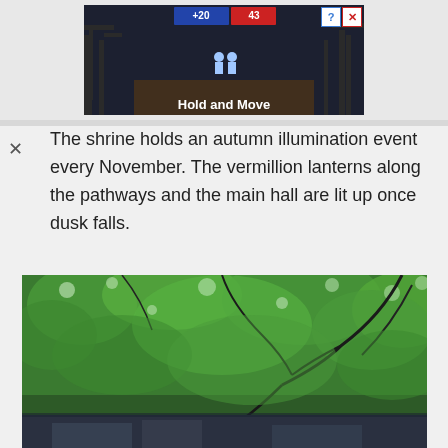[Figure (screenshot): Advertisement banner showing a game screenshot with 'Hold and Move' text, blue and red score boxes, dark background with tree silhouettes, and help/close buttons in top right corner]
The shrine holds an autumn illumination event every November. The vermillion lanterns along the pathways and the main hall are lit up once dusk falls.
[Figure (photo): An upward-looking photograph of lush green tree canopy with dense foliage and dark branches against the sky, with glimpses of a building or structure visible at the bottom]